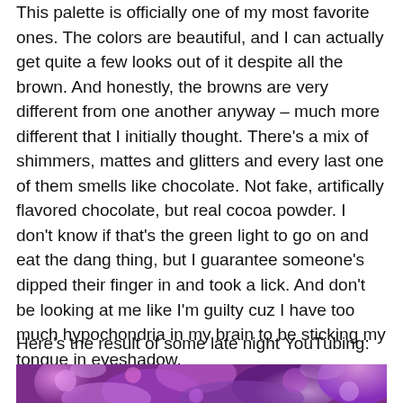This palette is officially one of my most favorite ones.  The colors are beautiful, and I can actually get quite a few looks out of it despite all the brown.  And honestly, the browns are very different from one another anyway – much more different that I initially thought.  There's a mix of shimmers, mattes and glitters and every last one of them smells like chocolate.  Not fake, artifically flavored chocolate, but real cocoa powder.  I don't know if that's the green light to go on and eat the dang thing, but I guarantee someone's dipped their finger in and took a lick.  And don't be looking at me like I'm guilty cuz I have too much hypochondria in my brain to be sticking my tongue in eyeshadow.
Here's the result of some late night YouTubing:
[Figure (photo): Purple and pink floral/abstract image, bottom portion of a YouTube video thumbnail]